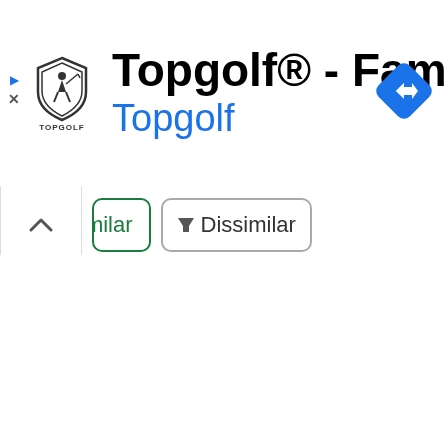[Figure (screenshot): Topgolf advertisement banner with logo, title 'Topgolf® - Family Fun', subtitle 'Topgolf', and a blue navigation/directions diamond icon on the right. Play and close icons on the left edge.]
[Figure (screenshot): UI toolbar with a collapsed chevron-up button on the left, a 'Similar' button with green border (partially cropped), and a 'Dissimilar' button with funnel icon.]
Similar
Dissimilar